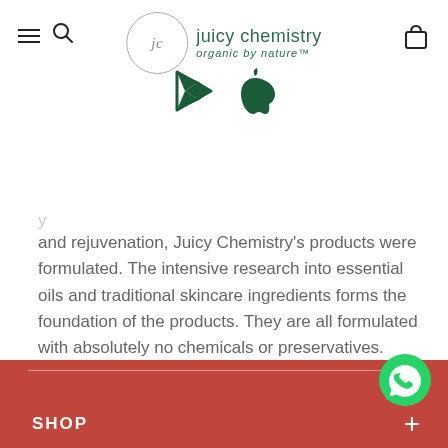Juicy Chemistry — organic by nature
[Figure (logo): Juicy Chemistry logo with circular 'jc' emblem and tagline 'organic by nature', with Google Play and Apple App Store icons below]
and rejuvenation, Juicy Chemistry's products were formulated. The intensive research into essential oils and traditional skincare ingredients forms the foundation of the products. They are all formulated with absolutely no chemicals or preservatives.

Just distilled nature in a box, ready for use!
SHOP